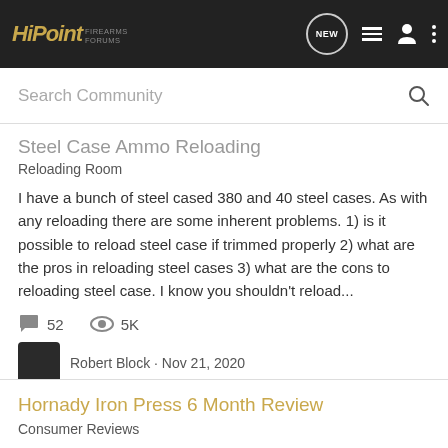HiPoint Firearms Forums
Search Community
Steel Case Ammo Reloading
Reloading Room
I have a bunch of steel cased 380 and 40 steel cases. As with any reloading there are some inherent problems. 1) is it possible to reload steel case if trimmed properly 2) what are the pros in reloading steel cases 3) what are the cons to reloading steel case. I know you shouldn't reload...
52   5K
Robert Block · Nov 21, 2020
380acp
40 s&w
reloading
steel case
Hornady Iron Press 6 Month Review
Consumer Reviews